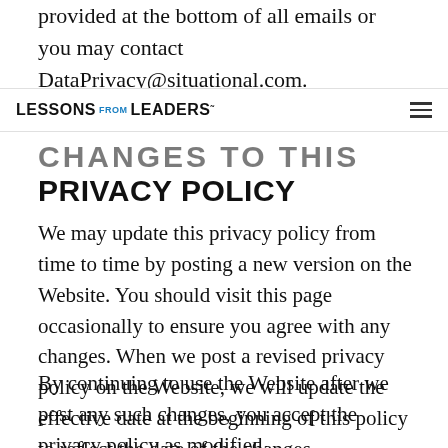provided at the bottom of all emails or you may contact DataPrivacy@situational.com.
LESSONS FROM LEADERS
CHANGES TO THIS PRIVACY POLICY
We may update this privacy policy from time to time by posting a new version on the Website. You should visit this page occasionally to ensure you agree with any changes. When we post a revised privacy policy on the Website, we will update the effective date at the beginning of this policy to reflect the date of the changes.
By continuing to use the Website after we post any such changes, you accept the privacy policy as modified.